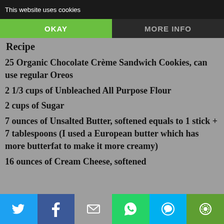This website uses cookies
OKAY | MORE INFO
Recipe
25 Organic Chocolate Crème Sandwich Cookies, can use regular Oreos
2 1/3 cups of Unbleached All Purpose Flour
2 cups of Sugar
7 ounces of Unsalted Butter, softened equals to 1 stick + 7 tablespoons (I used a European butter which has more butterfat to make it more creamy)
16 ounces of Cream Cheese, softened
Share buttons: Twitter, Facebook, Email, WhatsApp, SMS, Other